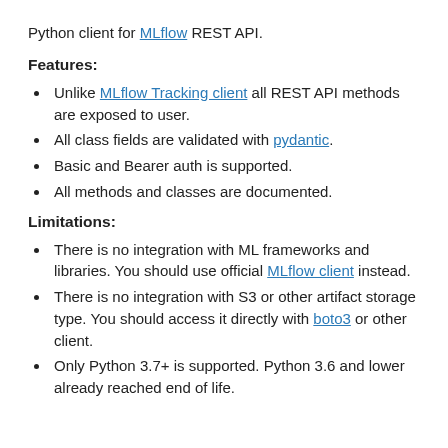Python client for MLflow REST API.
Features:
Unlike MLflow Tracking client all REST API methods are exposed to user.
All class fields are validated with pydantic.
Basic and Bearer auth is supported.
All methods and classes are documented.
Limitations:
There is no integration with ML frameworks and libraries. You should use official MLflow client instead.
There is no integration with S3 or other artifact storage type. You should access it directly with boto3 or other client.
Only Python 3.7+ is supported. Python 3.6 and lower already reached end of life.